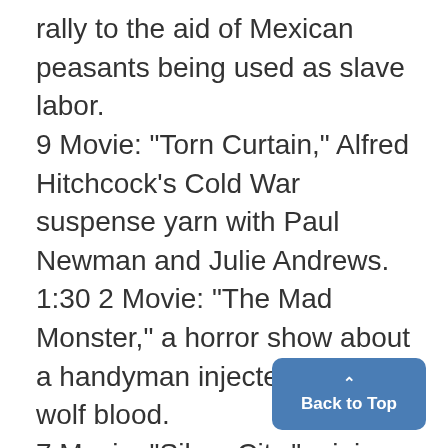rally to the aid of Mexican peasants being used as slave labor. 9 Movie: "Torn Curtain," Alfred Hitchcock's Cold War suspense yarn with Paul Newman and Julie Andrews. 1:30 2 Movie: "The Mad Monster," a horror show about a handyman injected with' wolf blood. 7 Movie: "Silver City," mining town action.
Back to Top